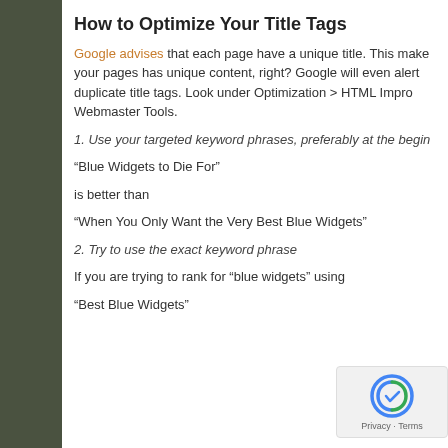How to Optimize Your Title Tags
Google advises that each page have a unique title. This makes sense since your pages has unique content, right? Google will even alert you if you have duplicate title tags. Look under Optimization > HTML Improvements in Webmaster Tools.
1. Use your targeted keyword phrases, preferably at the beginning
“Blue Widgets to Die For”
is better than
“When You Only Want the Very Best Blue Widgets”
2. Try to use the exact keyword phrase
If you are trying to rank for “blue widgets” using that exact...
“Best Blue Widgets”